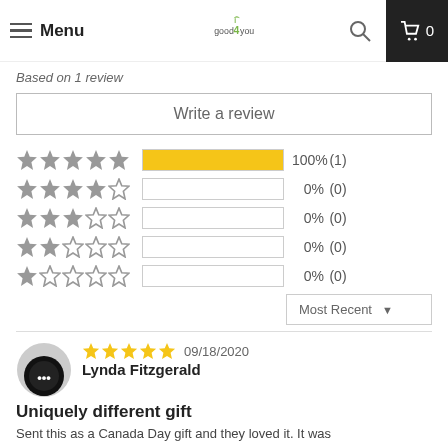Menu | good4you | 0
Based on 1 review
Write a review
[Figure (infographic): Star rating distribution: 5 stars 100% (1), 4 stars 0% (0), 3 stars 0% (0), 2 stars 0% (0), 1 star 0% (0)]
Most Recent
09/18/2020
Lynda Fitzgerald
Uniquely different gift
Sent this as a Canada Day gift and they loved it. It was